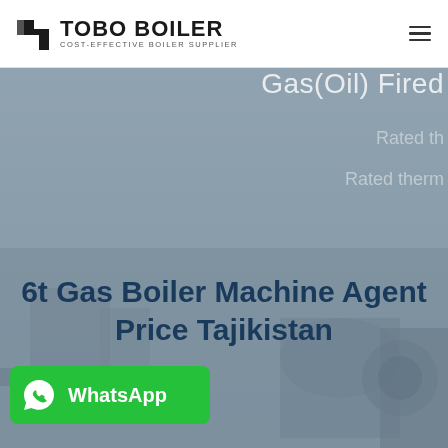TOBO BOILER — COST-EFFECTIVE BOILER SUPPLIER
[Figure (photo): Hero section showing industrial boiler machinery in background with gray overlay. Partially visible text reads 'Gas(Oil) Fired', 'Rated th...', 'Rated therm...' on the right side.]
6t Gas Boiler Machine Agent Price Tajikistan
[Figure (logo): WhatsApp button — green rounded rectangle with WhatsApp icon and text 'WhatsApp']